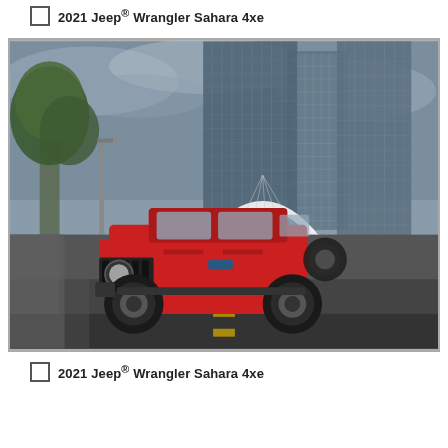2021 Jeep® Wrangler Sahara 4xe
[Figure (photo): Red 2021 Jeep Wrangler Sahara 4xe driving on a city street with tall glass skyscrapers and an arched white bridge in the background. Green trees on the left. Dramatic cloudy sky.]
2021 Jeep® Wrangler Sahara 4xe